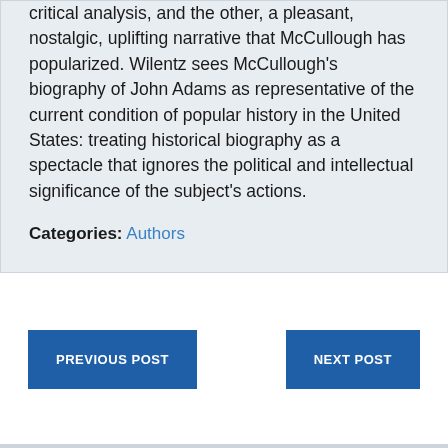critical analysis, and the other, a pleasant, nostalgic, uplifting narrative that McCullough has popularized. Wilentz sees McCullough's biography of John Adams as representative of the current condition of popular history in the United States: treating historical biography as a spectacle that ignores the political and intellectual significance of the subject's actions.
Categories: Authors
PREVIOUS POST
NEXT POST